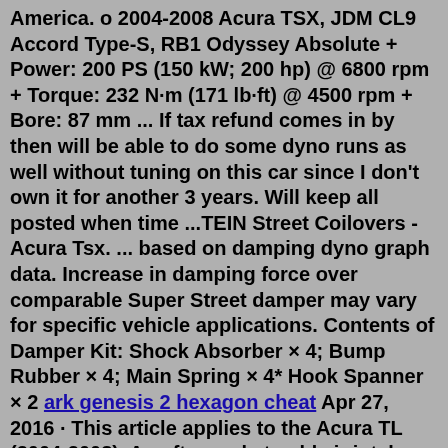America. o 2004-2008 Acura TSX, JDM CL9 Accord Type-S, RB1 Odyssey Absolute + Power: 200 PS (150 kW; 200 hp) @ 6800 rpm + Torque: 232 N·m (171 lb·ft) @ 4500 rpm + Bore: 87 mm ... If tax refund comes in by then will be able to do some dyno runs as well without tuning on this car since I don't own it for another 3 years. Will keep all posted when time ...TEIN Street Coilovers - Acura Tsx. ... based on damping dyno graph data. Increase in damping force over comparable Super Street damper may vary for specific vehicle applications. Contents of Damper Kit: Shock Absorber × 4; Bump Rubber × 4; Main Spring × 4* Hook Spanner × 2 ark genesis 2 hexagon cheat Apr 27, 2016 · This article applies to the Acura TL (2004-2008). An aftermarket cold air intake replaces your TL's factory air box. The stock intake system on your TL is comprised of several plastic pieces assembled together, while most aftermarket intakes are singular metal tubes, designed to reduce tumble and turbulence as well as increase flow. Acura TSX - E Torque S...